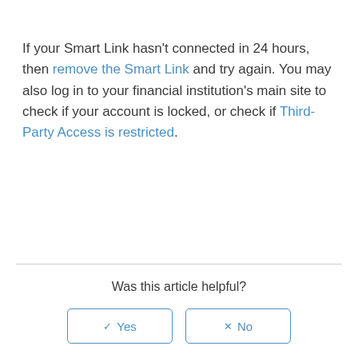If your Smart Link hasn't connected in 24 hours, then remove the Smart Link and try again. You may also log in to your financial institution's main site to check if your account is locked, or check if Third-Party Access is restricted.
Was this article helpful?